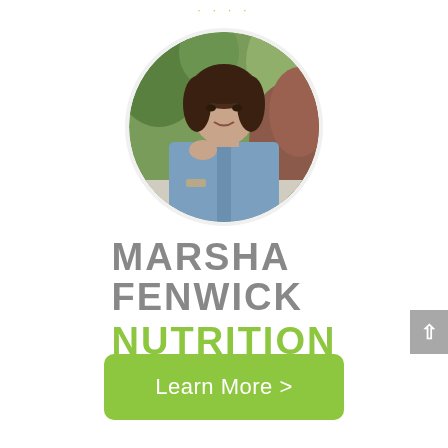[Figure (photo): Circular profile photo of a woman with brown hair wearing a denim jacket, resting her chin on her hand, with a blurred green outdoor background]
[Figure (logo): Marsha Fenwick Nutrition logo — MARSHA FENWICK in grey bold uppercase text, NUTRITION in bold green uppercase text]
Learn More >